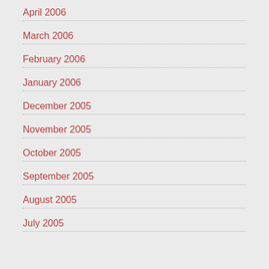April 2006
March 2006
February 2006
January 2006
December 2005
November 2005
October 2005
September 2005
August 2005
July 2005